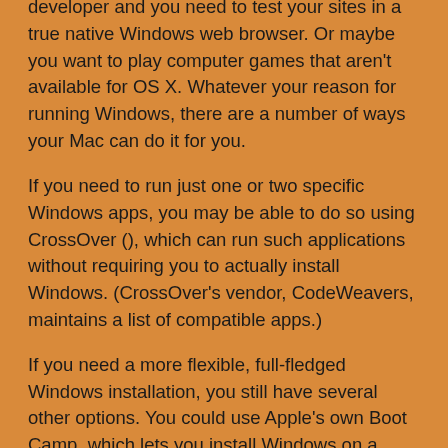developer and you need to test your sites in a true native Windows web browser. Or maybe you want to play computer games that aren't available for OS X. Whatever your reason for running Windows, there are a number of ways your Mac can do it for you.
If you need to run just one or two specific Windows apps, you may be able to do so using CrossOver (), which can run such applications without requiring you to actually install Windows. (CrossOver's vendor, CodeWeavers, maintains a list of compatible apps.)
If you need a more flexible, full-fledged Windows installation, you still have several other options. You could use Apple's own Boot Camp, which lets you install Windows on a separate partition of your hard drive. Or you could install one of three third-party virtualization programs: Parallels Desktop 7 (), VMware Fusion (), or VirtualBox (), each of which lets you run Windows (or another operating system) as if it were just another OS X application.